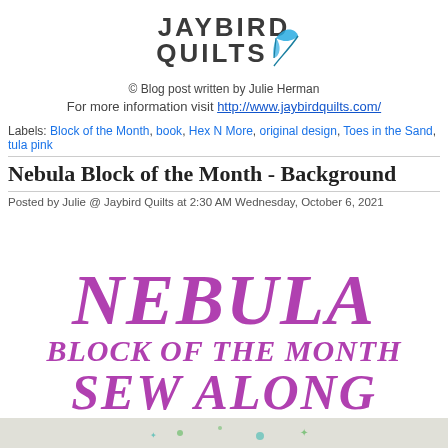[Figure (logo): Jaybird Quilts logo with stylized text and feather icon]
© Blog post written by Julie Herman
For more information visit http://www.jaybirdquilts.com/
Labels: Block of the Month, book, Hex N More, original design, Toes in the Sand, tula pink
Nebula Block of the Month - Background
Posted by Julie @ Jaybird Quilts at 2:30 AM Wednesday, October 6, 2021
[Figure (illustration): Large decorative text reading NEBULA BLOCK OF THE MONTH SEW ALONG in purple/magenta serif italic font]
[Figure (illustration): Bottom strip showing partial quilt block preview with green and teal snowflake/star designs on light gray background]